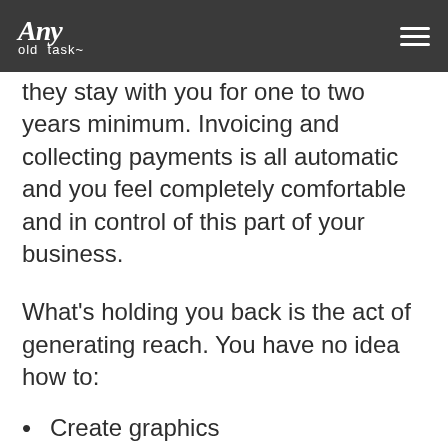Any old task
they stay with you for one to two years minimum. Invoicing and collecting payments is all automatic and you feel completely comfortable and in control of this part of your business.
What's holding you back is the act of generating reach. You have no idea how to:
Create graphics
Write copy, including blogs (though you seek one out every month or so)